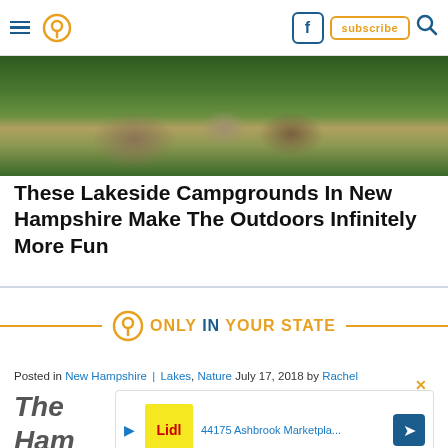Navigation bar with hamburger menu, pin/location icon, Facebook button, subscribe button, search icon
[Figure (photo): Aerial view of lakeside campground in New Hampshire with buildings, trees, dirt paths]
These Lakeside Campgrounds In New Hampshire Make The Outdoors Infinitely More Fun
[Figure (logo): Only In Your State logo with pin icon, orange and blue text, flanked by orange horizontal lines]
Posted in New Hampshire | Lakes, Nature July 17, 2018 by Rachel
These New Hampshire Campgrounds Are Almost Too Beautiful To Be Real
[Figure (screenshot): Advertisement overlay: 44175 Ashbrook Marketpla... with Lidl logo, play button, navigation icon, close X button]